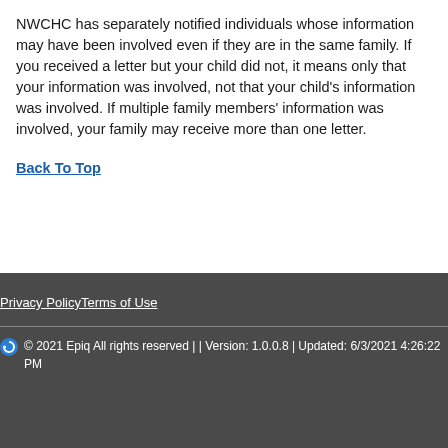NWCHC has separately notified individuals whose information may have been involved even if they are in the same family. If you received a letter but your child did not, it means only that your information was involved, not that your child's information was involved. If multiple family members' information was involved, your family may receive more than one letter.
Back To Top
Privacy Policy   Terms of Use
© 2021 Epiq All rights reserved | | Version: 1.0.0.8 | Updated: 6/3/2021 4:26:22 PM